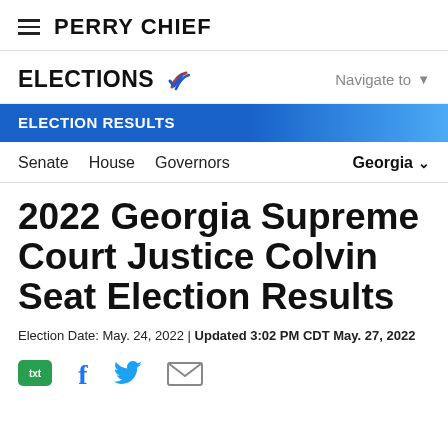PERRY CHIEF
ELECTIONS
ELECTION RESULTS
Senate   House   Governors   Georgia
2022 Georgia Supreme Court Justice Colvin Seat Election Results
Election Date: May. 24, 2022 | Updated 3:02 PM CDT May. 27, 2022
[Figure (infographic): Social sharing icons: txt (green speech bubble), Facebook (f), Twitter (bird), email (envelope)]